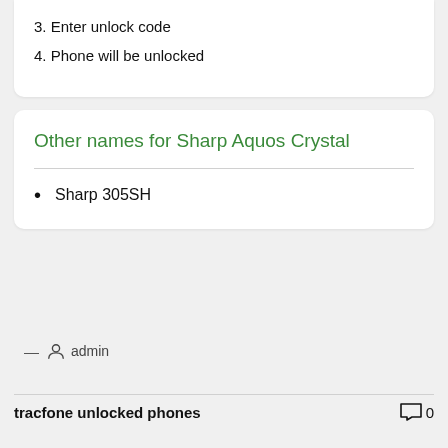3. Enter unlock code
4. Phone will be unlocked
Other names for Sharp Aquos Crystal
Sharp 305SH
— admin
tracfone unlocked phones   0